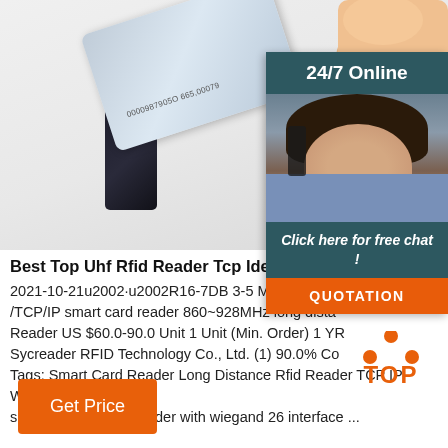[Figure (photo): Hand holding an RFID card being inserted into a black card reader device. Card shows number 0000987905O 665,00079. Background is light/white.]
[Figure (photo): Customer service agent with headset smiling, with '24/7 Online' header and 'Click here for free chat!' text and orange QUOTATION button on dark teal sidebar.]
Best Top Uhf Rfid Reader Tcp Ideas And Get Free S
2021-10-21u2002·u2002R16-7DB 3-5 Meters Weiga /TCP/IP smart card reader 860~928MHz long dista Reader US $60.0-90.0 Unit 1 Unit (Min. Order) 1 YR Sycreader RFID Technology Co., Ltd. (1) 90.0% Co Tags: Smart Card Reader Long Distance Rfid Reader TCP IP WIFI support UHF RFID reader with wiegand 26 interface ...
[Figure (logo): TOP logo with orange dots forming a triangle/mountain shape above the word TOP in orange bold letters]
Get Price